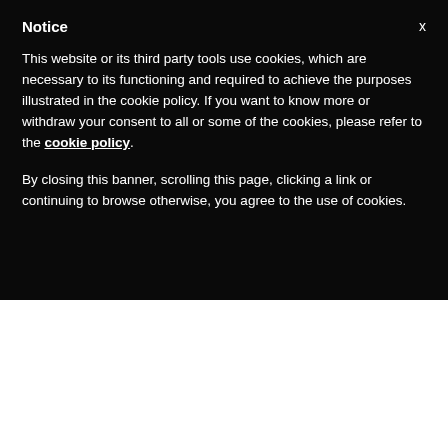Notice
This website or its third party tools use cookies, which are necessary to its functioning and required to achieve the purposes illustrated in the cookie policy. If you want to know more or withdraw your consent to all or some of the cookies, please refer to the cookie policy.
By closing this banner, scrolling this page, clicking a link or continuing to browse otherwise, you agree to the use of cookies.
Scholastica of Norcia, Francis and Clare of Assisi, Teresa of Avila and John of the Cross, and the “great saints of charity”: Vincent de Paul, Camillus de Lillis and Mother Teresa of Calcutta.
Toward the end of the letter, the Pope admits that his critique of Odifreddi’s book “is harsh in part.” But